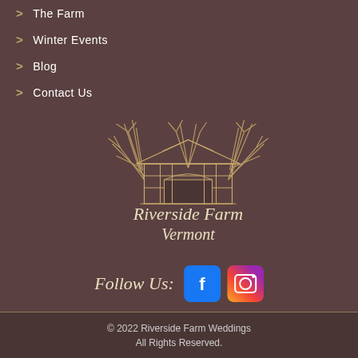> The Farm
> Winter Events
> Blog
> Contact Us
[Figure (logo): Riverside Farm Vermont logo with illustrated covered bridge and cursive script text]
Follow Us:
© 2022 Riverside Farm Weddings All Rights Reserved.